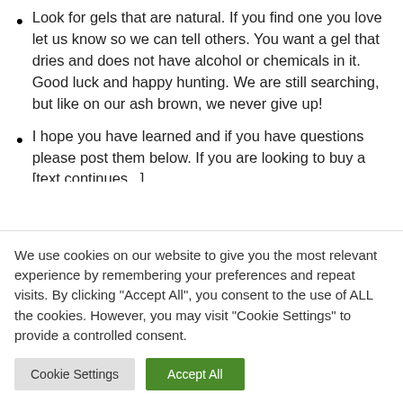Look for gels that are natural. If you find one you love let us know so we can tell others. You want a gel that dries and does not have alcohol or chemicals in it. Good luck and happy hunting. We are still searching, but like on our ash brown, we never give up!
I hope you have learned and if you have questions please post them below. If you are looking to buy a [text continues below fold]
We use cookies on our website to give you the most relevant experience by remembering your preferences and repeat visits. By clicking "Accept All", you consent to the use of ALL the cookies. However, you may visit "Cookie Settings" to provide a controlled consent.